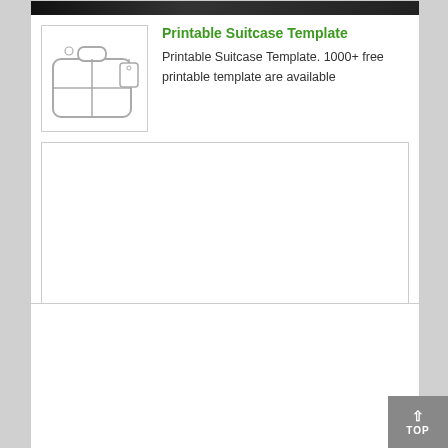[Figure (photo): Partial dark image strip at top of card]
[Figure (illustration): Suitcase outline illustration with tag, thumbnail image for listing]
Printable Suitcase Template
Printable Suitcase Template. 1000+ free printable template are available
[Figure (other): Empty advertisement or content placeholder box]
[Figure (other): Large empty advertisement or content placeholder box below main card]